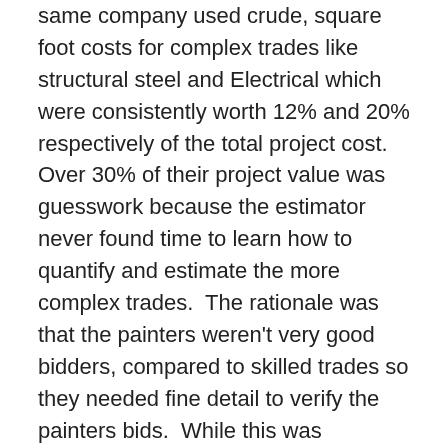same company used crude, square foot costs for complex trades like structural steel and Electrical which were consistently worth 12% and 20% respectively of the total project cost.  Over 30% of their project value was guesswork because the estimator never found time to learn how to quantify and estimate the more complex trades.  The rationale was that the painters weren't very good bidders, compared to skilled trades so they needed fine detail to verify the painters bids.  While this was generally true, it ignored the relative risk versus reward.  Any error in a skilled trade bid was probably worth more than the entire paint scope.  Simply put, there was no reason to even measure the paint because we could plug in double the average paint contract value without materially affecting our odds of winning the overall bid.  In fact, most of their jobs were won or lost on the basis of six critical trades.